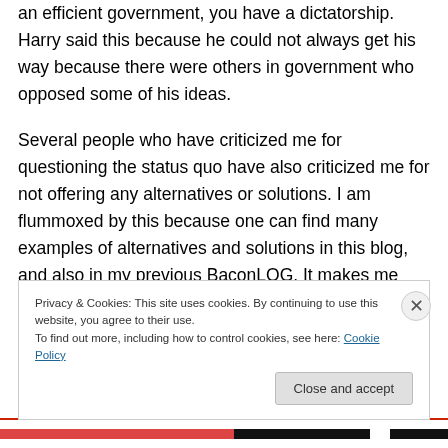an efficient government, you have a dictatorship. Harry said this because he could not always get his way because there were others in government who opposed some of his ideas.
Several people who have criticized me for questioning the status quo have also criticized me for not offering any alternatives or solutions. I am flummoxed by this because one can find many examples of alternatives and solutions in this blog, and also in my previous BaconLOG. It makes me wonder if they read anything other than what they criticize.
Privacy & Cookies: This site uses cookies. By continuing to use this website, you agree to their use.
To find out more, including how to control cookies, see here: Cookie Policy